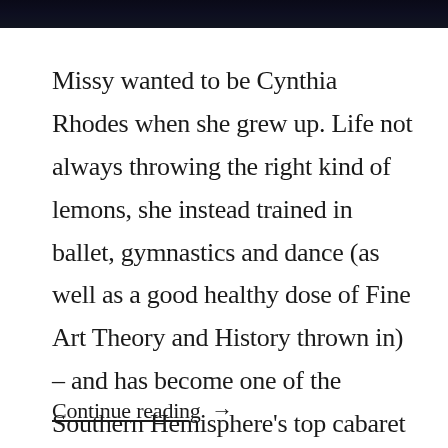[Figure (photo): Dark photograph cropped at top of page]
Missy wanted to be Cynthia Rhodes when she grew up. Life not always throwing the right kind of lemons, she instead trained in ballet, gymnastics and dance (as well as a good healthy dose of Fine Art Theory and History thrown in) – and has become one of the Southern Hemisphere's top cabaret pole dancers. …
Continue reading →